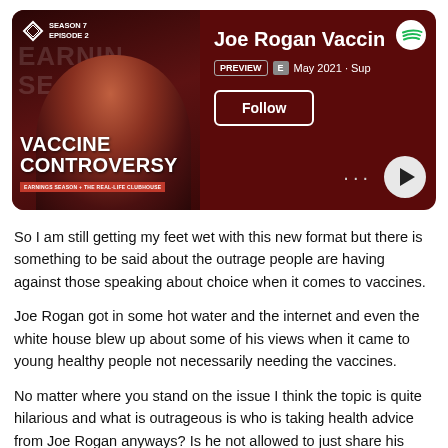[Figure (screenshot): Spotify podcast card for 'Joe Rogan Vaccine Controversy' episode. Season 7 Episode 2. Shows PREVIEW badge, E (explicit) badge, May 2021. Follow button. Play button and dots menu. Dark red background with podcast artwork on left side showing man and 'VACCINE CONTROVERSY' text.]
So I am still getting my feet wet with this new format but there is something to be said about the outrage people are having against those speaking about choice when it comes to vaccines.
Joe Rogan got in some hot water and the internet and even the white house blew up about some of his views when it came to young healthy people not necessarily needing the vaccines.
No matter where you stand on the issue I think the topic is quite hilarious and what is outrageous is who is taking health advice from Joe Rogan anyways? Is he not allowed to just share his